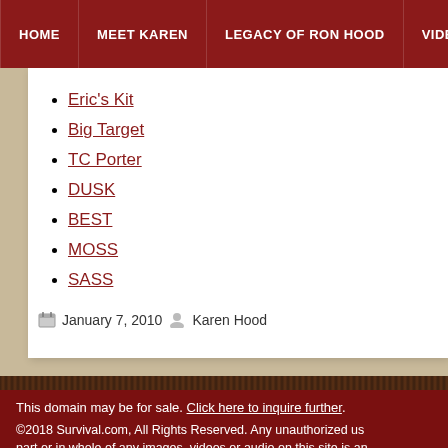HOME | MEET KAREN | LEGACY OF RON HOOD | VIDEOS | AR
Eric's Kit
Big Target
TC Porter
DUSK
BEST
MOSS
SASS
January 7, 2010   Karen Hood
This domain may be for sale. Click here to inquire further.
©2018 Survival.com, All Rights Reserved. Any unauthorized us... part or in whole of any images, videos or audio on this site is an... will be dealt with accordingly.